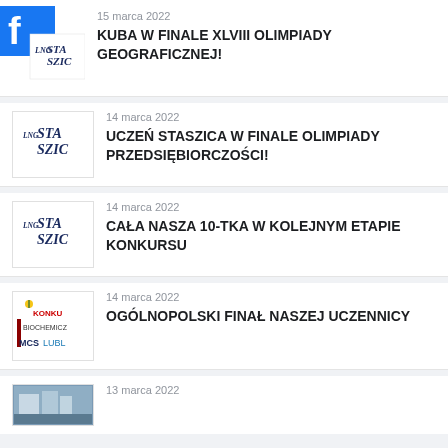15 marca 2022
KUBA W FINALE XLVIII OLIMPIADY GEOGRAFICZNEJ!
14 marca 2022
UCZEŃ STASZICA W FINALE OLIMPIADY PRZEDSIĘBIORCZOŚCI!
14 marca 2022
CAŁA NASZA 10-TKA W KOLEJNYM ETAPIE KONKURSU
14 marca 2022
OGÓLNOPOLSKI FINAŁ NASZEJ UCZENNICY
13 marca 2022